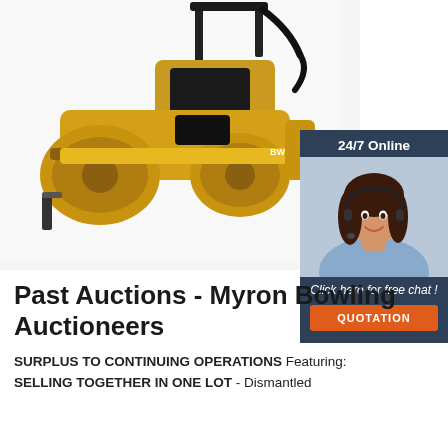[Figure (photo): A yellow road roller / compactor machine (Bomag or similar) photographed against a white background. The machine has two large yellow drums, a black engine compartment, and a ROPS canopy frame at the rear.]
[Figure (infographic): A '24/7 Online' chat widget showing a female customer service agent wearing a headset, with text 'Click here for free chat!' and an orange 'QUOTATION' button, set on a dark navy background.]
Past Auctions - Myron Bowling Auctioneers
SURPLUS TO CONTINUING OPERATIONS Featuring: SELLING TOGETHER IN ONE LOT - Dismantled